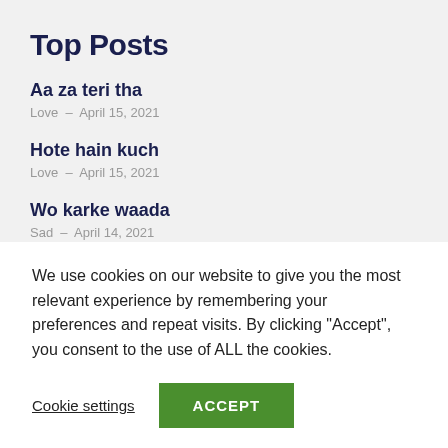Top Posts
Aa za teri tha
Love – April 15, 2021
Hote hain kuch
Love – April 15, 2021
Wo karke waada
Sad – April 14, 2021
We use cookies on our website to give you the most relevant experience by remembering your preferences and repeat visits. By clicking "Accept", you consent to the use of ALL the cookies.
Cookie settings    ACCEPT